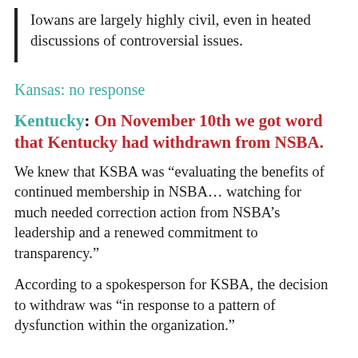Iowans are largely highly civil, even in heated discussions of controversial issues.
Kansas: no response
Kentucky: On November 10th we got word that Kentucky had withdrawn from NSBA.
We knew that KSBA was “evaluating the benefits of continued membership in NSBA… watching for much needed correction action from NSBA’s leadership and a renewed commitment to transparency.”
According to a spokesperson for KSBA, the decision to withdraw was “in response to a pattern of dysfunction within the organization.”